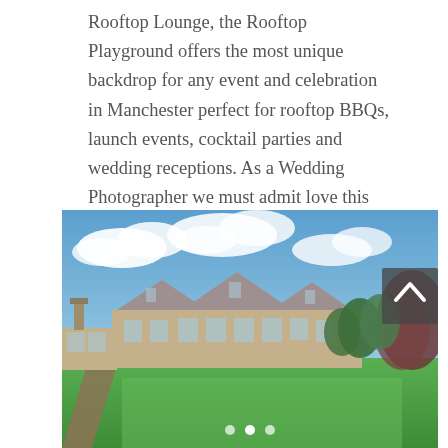Rooftop Lounge, the Rooftop Playground offers the most unique backdrop for any event and celebration in Manchester perfect for rooftop BBQs, launch events, cocktail parties and wedding receptions. As a Wedding Photographer we must admit love this venue!
[Figure (photo): Exterior photograph of a large Victorian stone manor house/hotel with multiple gabled roofs and a chimney, set in manicured green lawns under a partly cloudy blue sky, with trees visible on the right side. A navigation arrow button is overlaid in the top-right corner, and three dot pagination indicators appear at the bottom.]